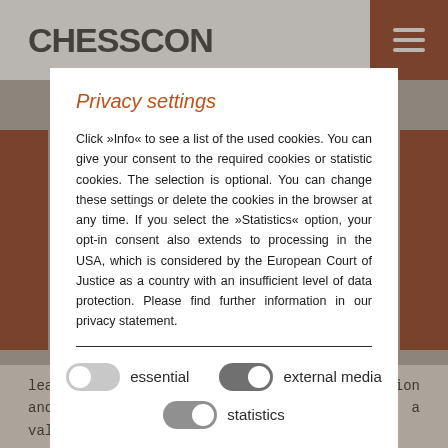[Figure (screenshot): ChessCon website header with logo and brown hamburger menu button]
Privacy settings
Click »Info« to see a list of the used cookies. You can give your consent to the required cookies or statistic cookies. The selection is optional. You can change these settings or delete the cookies in the browser at any time. If you select the »Statistics« option, your opt-in consent also extends to processing in the USA, which is considered by the European Court of Justice as a country with an insufficient level of data protection. Please find further information in our privacy statement.
[Figure (screenshot): Three toggle switches: 'essential' (off), 'external media' (on), and 'statistics' (off)]
leading companies in the global transportation and logistics company offering exhibitors a valuable opportunity to showcase their